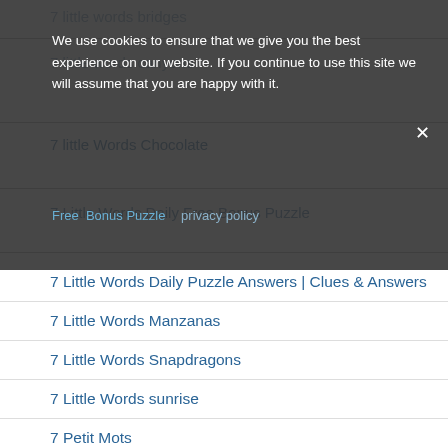7 little words bridges
7 little words canyons
We use cookies to ensure that we give you the best experience on our website. If you continue to use this site we will assume that you are happy with it.
7 little Words Chocolate
7 Little Words Daily Free Bonus Puzzle
7 Little Words Daily Puzzle Answers | Clues & Answers
7 Little Words Manzanas
7 Little Words Snapdragons
7 Little Words sunrise
7 Petit Mots
blog
Bonza Daily Puzzle Answers
Bonza NAT Geo Daily Puzzle Answers
Bubble Puzzles
Jumble
Oceans answers